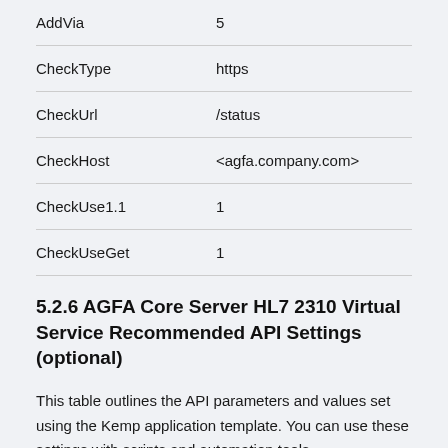| Parameter | Value |
| --- | --- |
| AddVia | 5 |
| CheckType | https |
| CheckUrl | /status |
| CheckHost | <agfa.company.com> |
| CheckUse1.1 | 1 |
| CheckUseGet | 1 |
5.2.6 AGFA Core Server HL7 2310 Virtual Service Recommended API Settings (optional)
This table outlines the API parameters and values set using the Kemp application template. You can use these settings with scripts and automation tools.